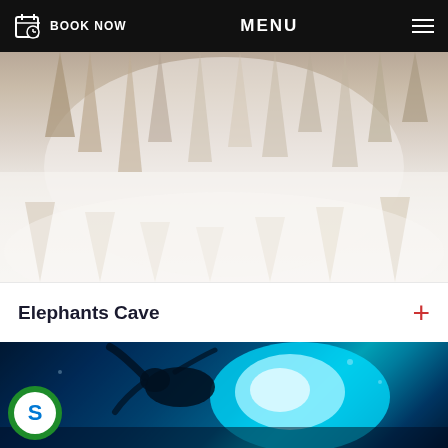BOOK NOW   MENU
[Figure (photo): Interior of a cave showing stalactites and stalagmites with soft misty lighting, beige and white limestone formations]
Elephants Cave
[Figure (photo): Underwater scene with bright cyan/teal light illuminating a diver or creature silhouette against dark blue water]